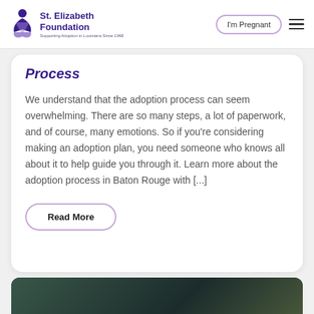St. Elizabeth Foundation — Supporting Adoption in Louisiana Since 1968 | I'm Pregnant | Menu
Process
We understand that the adoption process can seem overwhelming. There are so many steps, a lot of paperwork, and of course, many emotions. So if you're considering making an adoption plan, you need someone who knows all about it to help guide you through it. Learn more about the adoption process in Baton Rouge with [...]
Read More
[Figure (photo): Dark background image, partially visible at bottom of page]